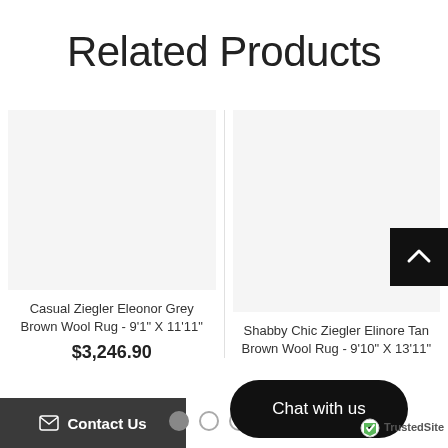Related Products
Casual Ziegler Eleonor Grey Brown Wool Rug - 9'1" X 11'11"
$3,246.90
Shabby Chic Ziegler Elinore Tan Brown Wool Rug - 9'10" X 13'11"
Chat with us
Contact Us
TrustedSite